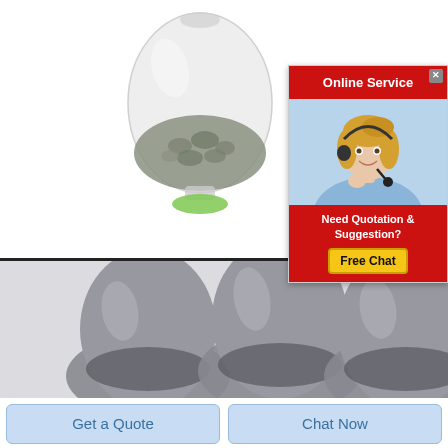[Figure (photo): Gray granular powder inside a transparent egg-shaped glass/plastic vial with a small green base, displayed against white background. Product shot for a chemical or material product.]
[Figure (infographic): Online Service popup overlay with red header, headset-wearing blonde female customer service representative photo, and red footer with 'Need Quotation & Suggestion?' text and yellow 'Free Chat' button. Close X button in top right corner.]
[Figure (photo): Three ovoid/egg-shaped capsule or tablet products side by side, dark gray/silver colored, containing small granular particles, against a light textured background.]
Get a Quote
Chat Now